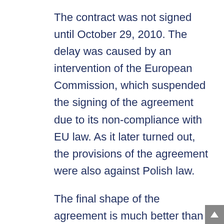The contract was not signed until October 29, 2010. The delay was caused by an intervention of the European Commission, which suspended the signing of the agreement due to its non-compliance with EU law. As it later turned out, the provisions of the agreement were also against Polish law.
The final shape of the agreement is much better than the one originally